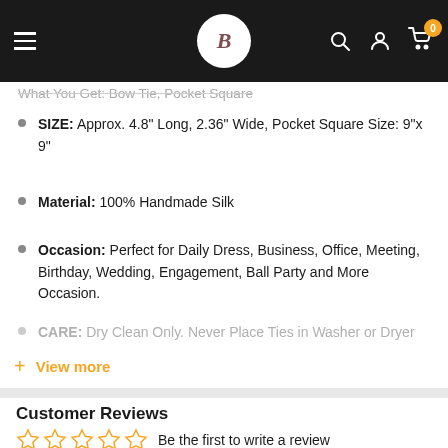B [logo] navigation bar with hamburger, search, account, cart icons
What You Get: Bow Tie, Pocket Square
SIZE:  Approx. 4.8" Long, 2.36" Wide, Pocket Square Size: 9"x 9"
Material: 100% Handmade Silk
Occasion: Perfect for Daily Dress, Business, Office, Meeting, Birthday, Wedding, Engagement, Ball Party and More Occasion.
CARE: Dry Clean Only. Never Place Ties in Washer or Dryer
+ View more
Customer Reviews
☆☆☆☆☆ Be the first to write a review